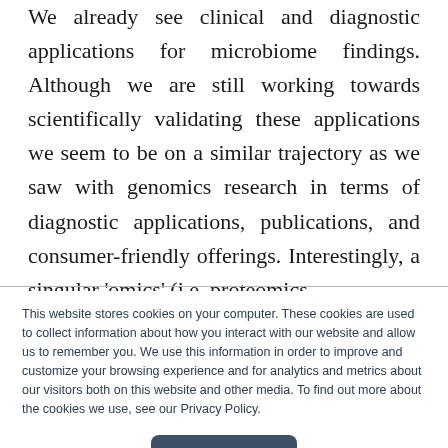We already see clinical and diagnostic applications for microbiome findings. Although we are still working towards scientifically validating these applications we seem to be on a similar trajectory as we saw with genomics research in terms of diagnostic applications, publications, and consumer-friendly offerings. Interestingly, a singular 'omics' (i.e. proteomics,
This website stores cookies on your computer. These cookies are used to collect information about how you interact with our website and allow us to remember you. We use this information in order to improve and customize your browsing experience and for analytics and metrics about our visitors both on this website and other media. To find out more about the cookies we use, see our Privacy Policy.